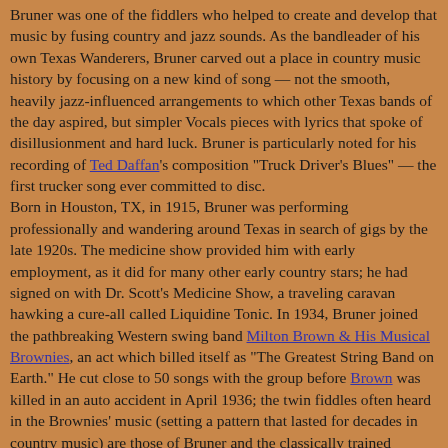Bruner was one of the fiddlers who helped to create and develop that music by fusing country and jazz sounds. As the bandleader of his own Texas Wanderers, Bruner carved out a place in country music history by focusing on a new kind of song — not the smooth, heavily jazz-influenced arrangements to which other Texas bands of the day aspired, but simpler Vocals pieces with lyrics that spoke of disillusionment and hard luck. Bruner is particularly noted for his recording of Ted Daffan's composition "Truck Driver's Blues" — the first trucker song ever committed to disc.
Born in Houston, TX, in 1915, Bruner was performing professionally and wandering around Texas in search of gigs by the late 1920s. The medicine show provided him with early employment, as it did for many other early country stars; he had signed on with Dr. Scott's Medicine Show, a traveling caravan hawking a cure-all called Liquidine Tonic. In 1934, Bruner joined the pathbreaking Western swing band Milton Brown & His Musical Brownies, an act which billed itself as "The Greatest String Band on Earth." He cut close to 50 songs with the group before Brown was killed in an auto accident in April 1936; the twin fiddles often heard in the Brownies' music (setting a pattern that lasted for decades in country music) are those of Bruner and the classically trained violinist Cecil Brower.
After Brown's death, Bruner returned to Houston and formed a group called the Texas Wanderers (sometimes called Cliff Bruner